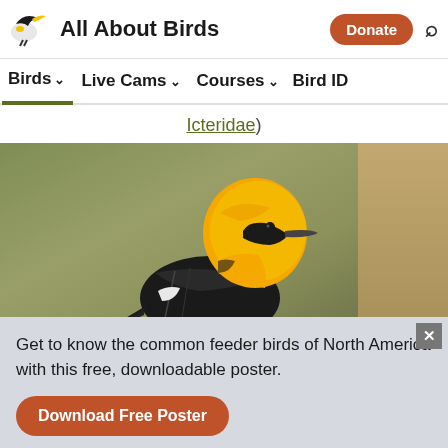All About Birds | Donate | Search
Birds ∨  Live Cams ∨  Courses ∨  Bird ID
Icteridae)
[Figure (photo): A yellow-headed blackbird (Xanthocephalus xanthocephalus) perched, showing bright orange-yellow head and black body against a blurred green background.]
Get to know the common feeder birds of North America with this free, downloadable poster.
Download Free Poster
Overview  ID info  Life History  Maps  Sounds